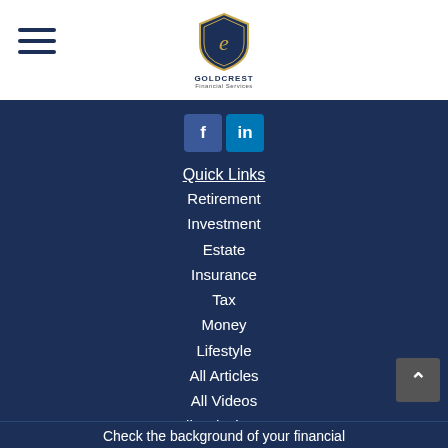[Figure (logo): Goldcrest Financial Services logo with shield icon and company name]
[Figure (infographic): Social media buttons: Facebook (f) and LinkedIn (in)]
Quick Links
Retirement
Investment
Estate
Insurance
Tax
Money
Lifestyle
All Articles
All Videos
All Calculators
All Presentations
Check the background of your financial